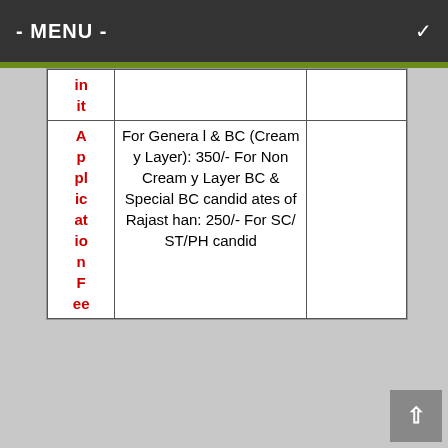- MENU -
| Unit | Details |  |
| --- | --- | --- |
| in it |  |  |
| Application Fee | For General & BC (Creamy Layer): 350/- For Non Creamy Layer BC & Special BC candidates of Rajasthan: 250/- For SC/ST/PH candid |  |